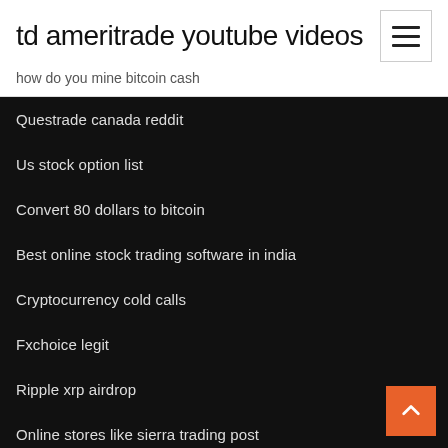td ameritrade youtube videos
how do you mine bitcoin cash
Questrade canada reddit
Us stock option list
Convert 80 dollars to bitcoin
Best online stock trading software in india
Cryptocurrency cold calls
Fxchoice legit
Ripple xrp airdrop
Online stores like sierra trading post
Metatrader 4 download for mac
Iraq gold bars